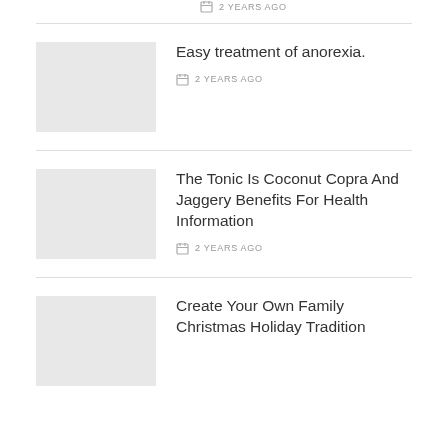2 YEARS AGO
Easy treatment of anorexia.
2 YEARS AGO
The Tonic Is Coconut Copra And Jaggery Benefits For Health Information
2 YEARS AGO
Create Your Own Family Christmas Holiday Tradition